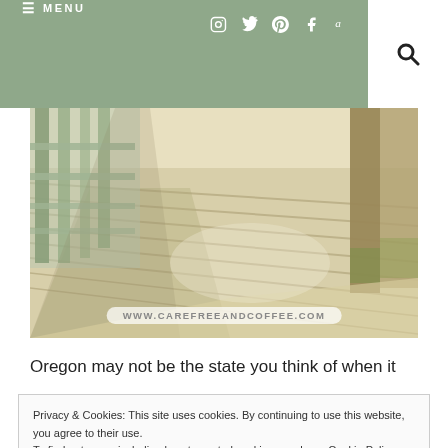≡ MENU  [instagram] [twitter] [pinterest] [facebook] [amazon]  [search]
[Figure (photo): Wooden boardwalk/deck with fence rails on the left and a wooden post on the right, bright sunlit day, watermark www.carefreeandcoffee.com at the bottom]
Oregon may not be the state you think of when it
Privacy & Cookies: This site uses cookies. By continuing to use this website, you agree to their use.
To find out more, including how to control cookies, see here: Cookie Policy
[Close and accept]